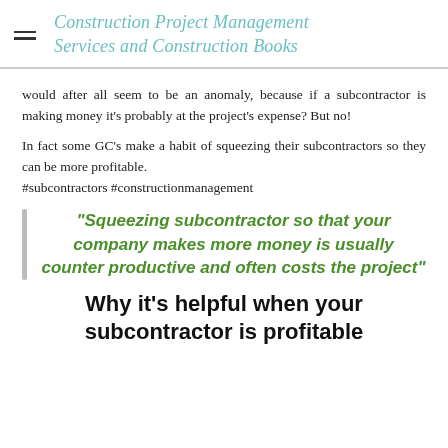Construction Project Management Services and Construction Books
would after all seem to be an anomaly, because if a subcontractor is making money it's probably at the project's expense? But no!
In fact some GC's make a habit of squeezing their subcontractors so they can be more profitable.
#subcontractors #constructionmanagement
"Squeezing subcontractor so that your company makes more money is usually counter productive and often costs the project"
Why it's helpful when your subcontractor is profitable